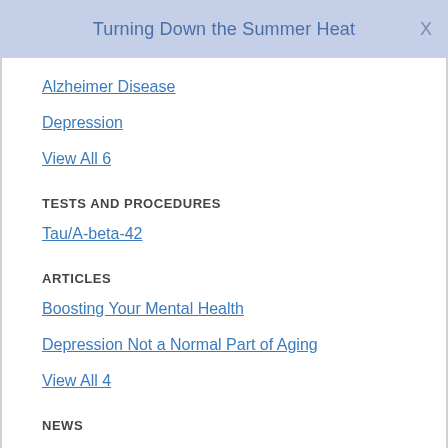Turning Down the Summer Heat
Alzheimer Disease
Depression
View All 6
TESTS AND PROCEDURES
Tau/A-beta-42
ARTICLES
Boosting Your Mental Health
Depression Not a Normal Part of Aging
View All 4
NEWS
¿La estación lo tiene triste? Hay formas de aliviar la